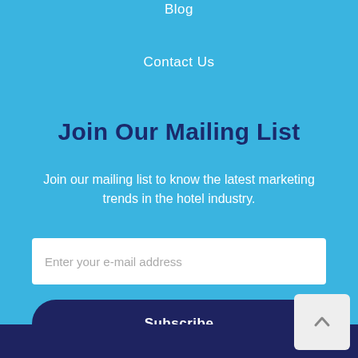Blog
Contact Us
Join Our Mailing List
Join our mailing list to know the latest marketing trends in the hotel industry.
Enter your e-mail address
Subscribe